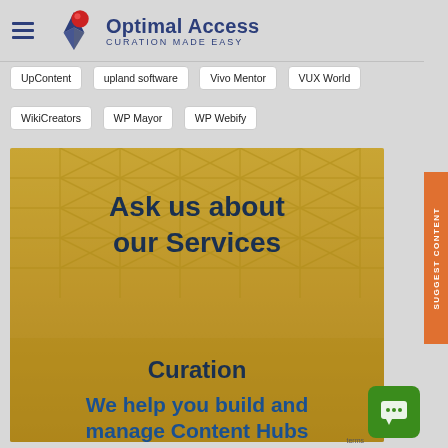Optimal Access — CURATION MADE EASY
UpContent
upland software
Vivo Mentor
VUX World
WikiCreators
WP Mayor
WP Webify
[Figure (illustration): Promotional banner with architectural ceiling background. Text reads: 'Ask us about our Services' and below 'Curation — We help you build and manage Content Hubs']